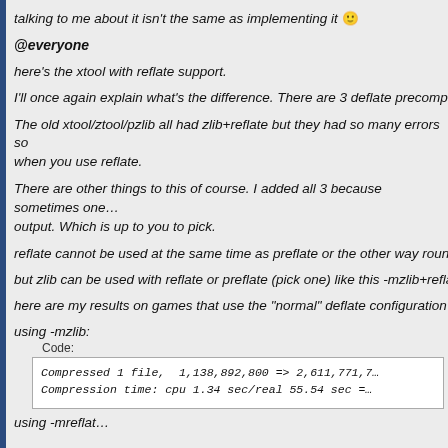talking to me about it isn't the same as implementing it 🙂
@everyone
here's the xtool with reflate support.
I'll once again explain what's the difference. There are 3 deflate precompres…
The old xtool/ztool/pzlib all had zlib+reflate but they had so many errors so… when you use reflate.
There are other things to this of course. I added all 3 because sometimes one… output. Which is up to you to pick.
reflate cannot be used at the same time as preflate or the other way round.
but zlib can be used with reflate or preflate (pick one) like this -mzlib+reflat…
here are my results on games that use the "normal" deflate configuration
using -mzlib:
Code:
[Figure (screenshot): Code block showing: Compressed 1 file, 1,138,892,800 => 2,611,771,7... / Compression time: cpu 1.34 sec/real 55.54 sec =]
using -mreflat…